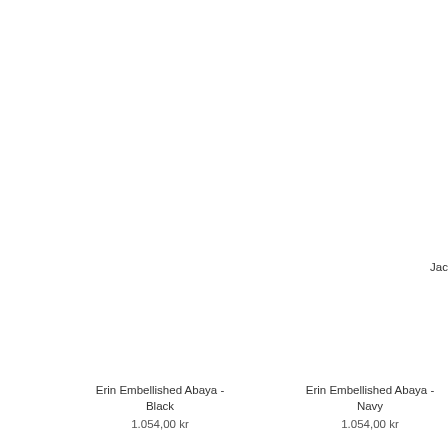Jac
Erin Embellished Abaya - Black
1.054,00 kr
Erin Embellished Abaya - Navy
1.054,00 kr